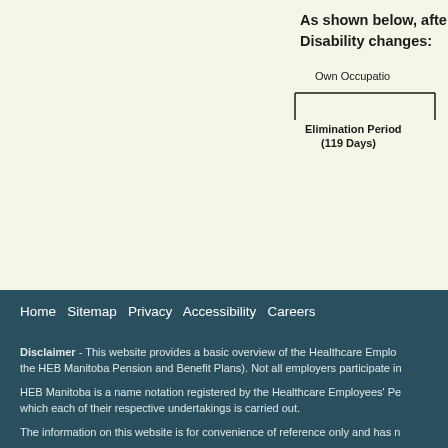As shown below, after the Disability changes:
[Figure (flowchart): Partial disability timeline diagram showing 'Own Occupation' period with 'Elimination Period (119 Days)' bracket, 'Date of Disability' vertical label on left, and 'Benefits Start' vertical label on right, connected by horizontal lines.]
Home  Sitemap  Privacy  Accessibility  Careers
Disclaimer - This website provides a basic overview of the Healthcare Employees' Benefits (the HEB Manitoba Pension and Benefit Plans). Not all employers participate in
HEB Manitoba is a name notation registered by the Healthcare Employees' Pension Plans under which each of their respective undertakings is carried out.
The information on this website is for convenience of reference only and has n